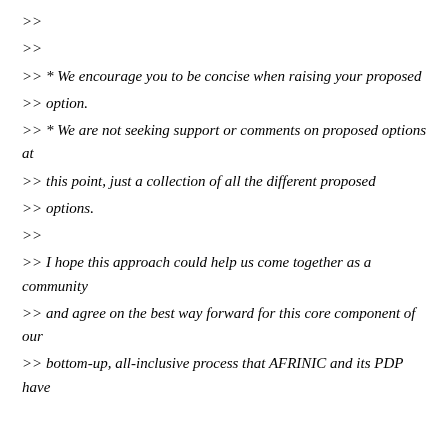>>
>>
>> * We encourage you to be concise when raising your proposed >> option.
>> * We are not seeking support or comments on proposed options at >> this point, just a collection of all the different proposed >> options.
>>
>> I hope this approach could help us come together as a community >> and agree on the best way forward for this core component of our >> bottom-up, all-inclusive process that AFRINIC and its PDP have